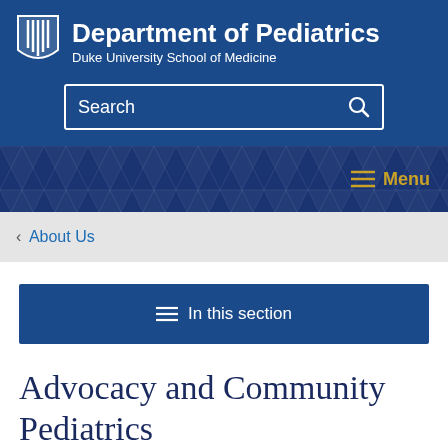Department of Pediatrics — Duke University School of Medicine
[Figure (logo): Duke University shield/crest logo in white on blue background]
Search
Menu
< About Us
≡ In this section
Advocacy and Community Pediatrics